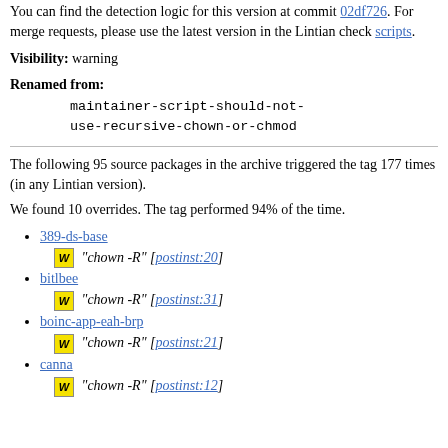You can find the detection logic for this version at commit 02df726. For merge requests, please use the latest version in the Lintian check scripts.
Visibility: warning
Renamed from:
maintainer-script-should-not-use-recursive-chown-or-chmod
The following 95 source packages in the archive triggered the tag 177 times (in any Lintian version).
We found 10 overrides. The tag performed 94% of the time.
389-ds-base  W "chown -R" [postinst:20]
bitlbee  W "chown -R" [postinst:31]
boinc-app-eah-brp  W "chown -R" [postinst:21]
canna  W "chown -R" [postinst:12]